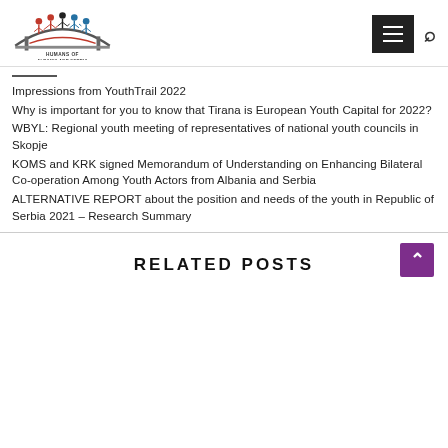Humans of Albania and Serbia — Navigation header with logo, menu button, search icon
Impressions from YouthTrail 2022
Why is important for you to know that Tirana is European Youth Capital for 2022?
WBYL: Regional youth meeting of representatives of national youth councils in Skopje
KOMS and KRK signed Memorandum of Understanding on Enhancing Bilateral Co-operation Among Youth Actors from Albania and Serbia
ALTERNATIVE REPORT about the position and needs of the youth in Republic of Serbia 2021 – Research Summary
RELATED POSTS